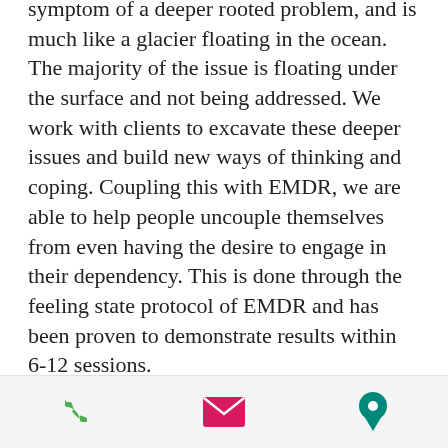symptom of a deeper rooted problem, and is much like a glacier floating in the ocean. The majority of the issue is floating under the surface and not being addressed. We work with clients to excavate these deeper issues and build new ways of thinking and coping. Coupling this with EMDR, we are able to help people uncouple themselves from even having the desire to engage in their dependency. This is done through the feeling state protocol of EMDR and has been proven to demonstrate results within 6-12 sessions.
As mentioned above, dependency encompass two general categories: chemical dependency; compulsory behaviors. What this means is that our dependency work goes beyond just
[Figure (other): Mobile app footer bar with three icons: phone (green), email/envelope (pink/magenta), and location pin (teal/green)]